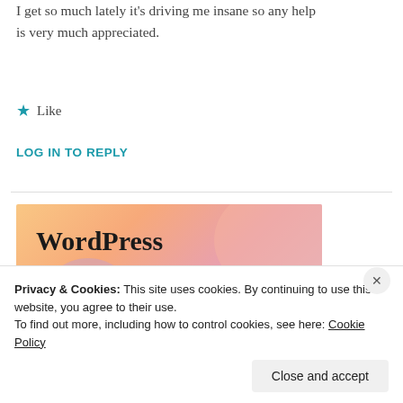I get so much lately it's driving me insane so any help is very much appreciated.
★ Like
LOG IN TO REPLY
[Figure (illustration): WordPress advertisement banner with colorful blob shapes and text 'WordPress in the back.']
Privacy & Cookies: This site uses cookies. By continuing to use this website, you agree to their use. To find out more, including how to control cookies, see here: Cookie Policy
Close and accept